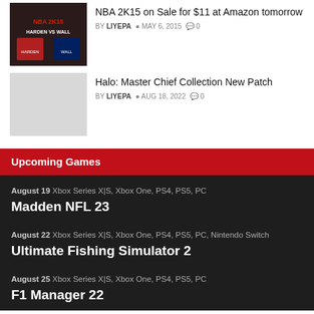NBA 2K15 on Sale for $11 at Amazon tomorrow
BY LIYEPA  MAY 6, 2015  0
Halo: Master Chief Collection New Patch
BY LIYEPA  AUG 18, 2022  0
Upcoming Games
August 19 Xbox Series X|S, Xbox One, PS4, PS5, PC
Madden NFL 23
August 22 Xbox Series X|S, Xbox One, PS4, PS5, PC, Nintendo Switch
Ultimate Fishing Simulator 2
August 25 Xbox Series X|S, Xbox One, PS4, PS5, PC
F1 Manager 22